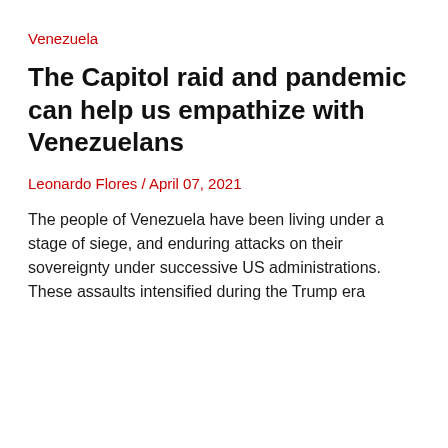Venezuela
The Capitol raid and pandemic can help us empathize with Venezuelans
Leonardo Flores / April 07, 2021
The people of Venezuela have been living under a stage of siege, and enduring attacks on their sovereignty under successive US administrations. These assaults intensified during the Trump era